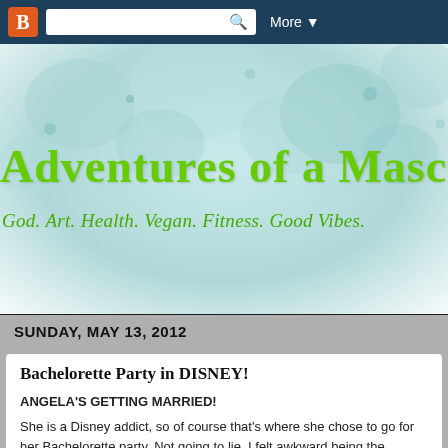Blogger navigation bar with search and More button
[Figure (illustration): Blog header banner with watercolor teal/mint background with bubble shapes]
ADVENTURES OF A MASCULINE (truncated)
God. Art. Health. Vegan. Fitness. Good Vibes.
SUNDAY, MAY 13, 2012
Bachelorette Party in DISNEY!
ANGELA'S GETTING MARRIED!
She is a Disney addict, so of course that's where she chose to go for her Bachelorette party. Not going to lie, I felt awkward being the